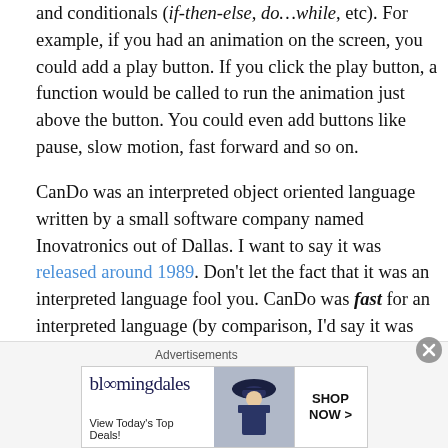and conditionals (if-then-else, do…while, etc). For example, if you had an animation on the screen, you could add a play button. If you click the play button, a function would be called to run the animation just above the button. You could even add buttons like pause, slow motion, fast forward and so on.
CanDo was an interpreted object oriented language written by a small software company named Inovatronics out of Dallas. I want to say it was released around 1989. Don't let the fact that it was an interpreted language fool you. CanDo was fast for an interpreted language (by comparison, I'd say it was proportionally faster than the first version of Java), even on the then 68000 CPU series
Advertisements
[Figure (other): Bloomingdale's advertisement banner: 'bloomingdales — View Today's Top Deals!' with image of woman in hat and 'SHOP NOW >' button]